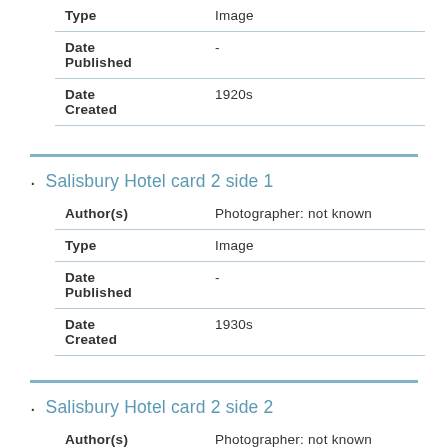| Type | Image |
| Date Published | - |
| Date Created | 1920s |
Salisbury Hotel card 2 side 1
| Author(s) | Photographer: not known |
| Type | Image |
| Date Published | - |
| Date Created | 1930s |
Salisbury Hotel card 2 side 2
| Author(s) | Photographer: not known |